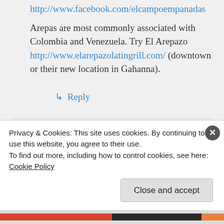http://www.facebook.com/elcampoempanadas
Arepas are most commonly associated with Colombia and Venezuela. Try El Arepazo http://www.elarepazolatingrill.com/ (downtown or their new location in Gahanna).
↳ Reply
coii on July 4, 2012 at 9:37 am
Privacy & Cookies: This site uses cookies. By continuing to use this website, you agree to their use.
To find out more, including how to control cookies, see here: Cookie Policy
Close and accept